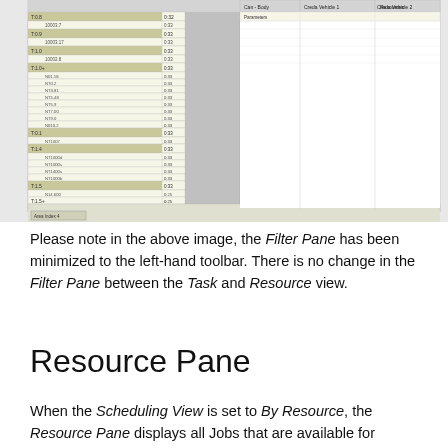[Figure (screenshot): Screenshot of a scheduling application showing a spreadsheet-like resource/task view with rows of tasks and columns of data including times and values. The left panel has task names and numeric values. The right panel shows resource columns with names like 'Can - Body', 'Creda Vehicle 1', 'Creda Vehicle 2', 'Resources'. A horizontal scrollbar and tab labeled 'Area Index 4' appear at the bottom.]
Please note in the above image, the Filter Pane has been minimized to the left-hand toolbar. There is no change in the Filter Pane between the Task and Resource view.
Resource Pane
When the Scheduling View is set to By Resource, the Resource Pane displays all Jobs that are available for